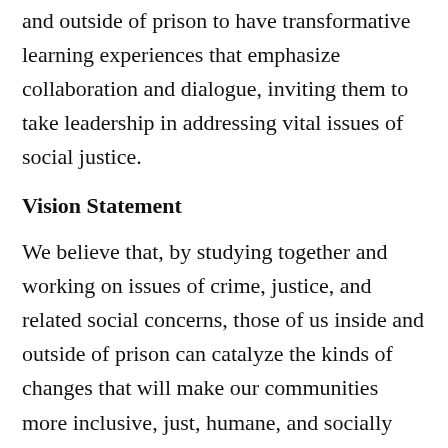and outside of prison to have transformative learning experiences that emphasize collaboration and dialogue, inviting them to take leadership in addressing vital issues of social justice.
Vision Statement
We believe that, by studying together and working on issues of crime, justice, and related social concerns, those of us inside and outside of prison can catalyze the kinds of changes that will make our communities more inclusive, just, humane, and socially sustainable.
Bridging the Gap Among Institutions
Higher education and corrections are among the